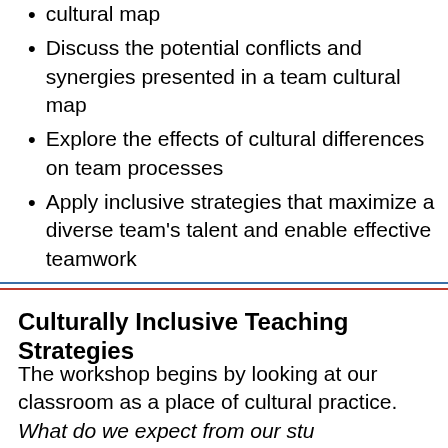cultural map
Discuss the potential conflicts and synergies presented in a team cultural map
Explore the effects of cultural differences on team processes
Apply inclusive strategies that maximize a diverse team's talent and enable effective teamwork
Culturally Inclusive Teaching Strategies
The workshop begins by looking at our classroom as a place of cultural practice. What do we expect from our students? What do we want from our classroom?